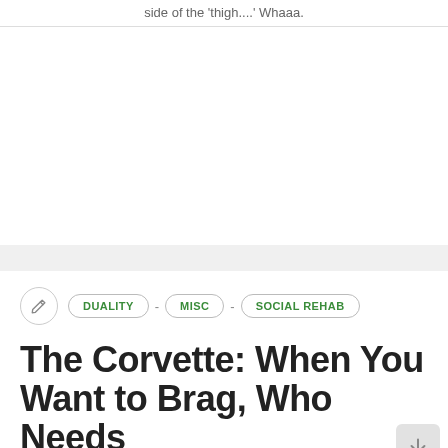side of the 'thigh....'  Whaaa.
[Figure (other): Advertisement block (white rectangle)]
DUALITY
MISC
SOCIAL REHAB
The Corvette: When You Want to Brag, Who Needs